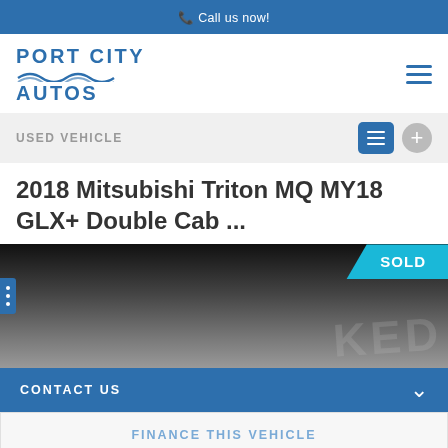Call us now!
[Figure (logo): Port City Autos logo with wave design]
USED VEHICLE
2018 Mitsubishi Triton MQ MY18 GLX+ Double Cab ...
[Figure (photo): Vehicle image with SOLD ribbon banner in teal/cyan color and watermark text]
CONTACT US
FINANCE THIS VEHICLE